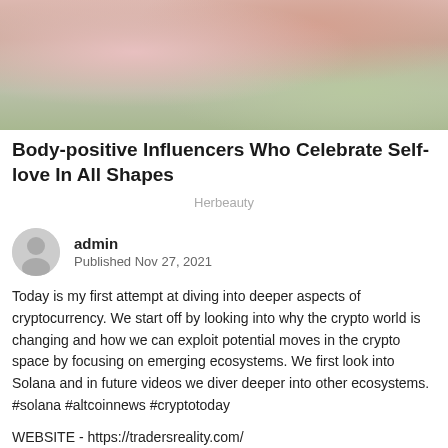[Figure (photo): Cropped photo of a person in a pink/rose glittery outfit, partial body view from above, with green/grey background visible at bottom edge.]
Body-positive Influencers Who Celebrate Self-love In All Shapes
Herbeauty
admin
Published Nov 27, 2021
Today is my first attempt at diving into deeper aspects of cryptocurrency. We start off by looking into why the crypto world is changing and how we can exploit potential moves in the crypto space by focusing on emerging ecosystems. We first look into Solana and in future videos we diver deeper into other ecosystems. #solana #altcoinnews #cryptotoday
WEBSITE - https://tradersreality.com/
Deeper Look Into The Hybrid System - PATREON